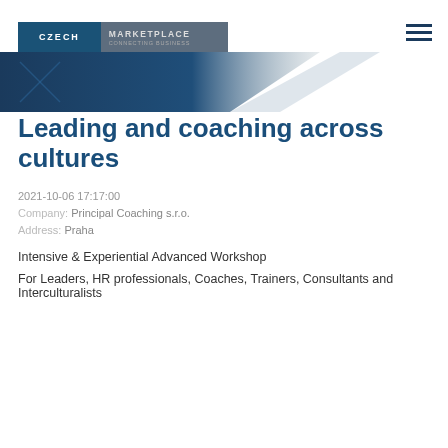[Figure (logo): Czech Marketplace logo with dark blue and grey panels]
Leading and coaching across cultures
2021-10-06 17:17:00
Company: Principal Coaching s.r.o.
Address: Praha
Intensive & Experiential Advanced Workshop
For Leaders, HR professionals, Coaches, Trainers, Consultants and Interculturalists